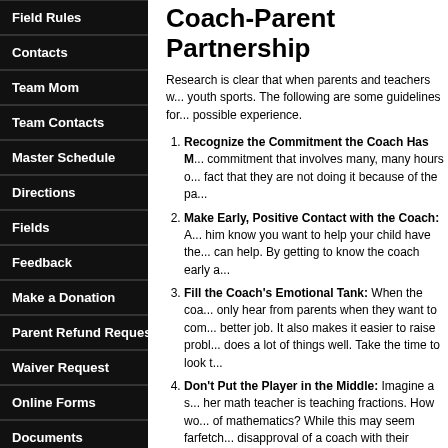Field Rules
Contacts
Team Mom
Team Contacts
Master Schedule
Directions
Fields
Feedback
Make a Donation
Parent Refund Request
Waiver Request
Online Forms
Documents
Edit My Account
Coach-Parent Partnership
Research is clear that when parents and teachers work together, children do better in youth sports. The following are some guidelines for helping your child have the best possible experience.
Recognize the Commitment the Coach Has Made: Coaching is a major commitment that involves many, many hours of time and energy. Respect the fact that they are not doing it because of the pa...
Make Early, Positive Contact with the Coach: Arrange to meet with him know you want to help your child have the best experience and that you can help. By getting to know the coach early a...
Fill the Coach's Emotional Tank: When the coach only hear from parents when they want to com... better job. It also makes it easier to raise probl... does a lot of things well. Take the time to look t...
Don't Put the Player in the Middle: Imagine a s... her math teacher is teaching fractions. How wo... of mathematics? While this may seem farfetch... disapproval of a coach with their children. This... Conversely, when parents support a coach, it i... your child"s coach is not handling a situation w... him about it.
Don't Give Instructions During a Game or Prac...